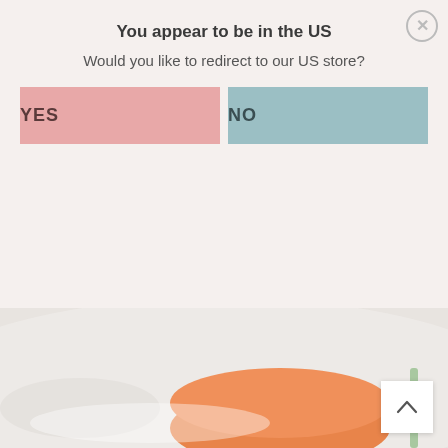You appear to be in the US
Would you like to redirect to our US store?
YES
NO
7 disposable baking pans
(For the vanilla buttercream)
3 ½ cups butter (7 sticks) softened
1 tablespoon vanilla extract
7 cups powdered sugar
¼ cup milk
[Figure (photo): Photo of baking/cake items with orange decorative element on light background]